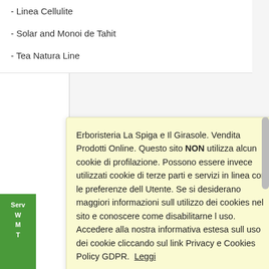- Linea Cellulite
- Solar and Monoi de Tahit
- Tea Natura Line
Erboristeria La Spiga e Il Girasole. Vendita Prodotti Online. Questo sito NON utilizza alcun cookie di profilazione. Possono essere invece utilizzati cookie di terze parti e servizi in linea con le preferenze dell Utente. Se si desiderano maggiori informazioni sull utilizzo dei cookies nel sito e conoscere come disabilitarne l uso. Accedere alla nostra informativa estesa sull uso dei cookie cliccando sul link Privacy e Cookies Policy GDPR.  Leggi
Rifiuta
Chiudi